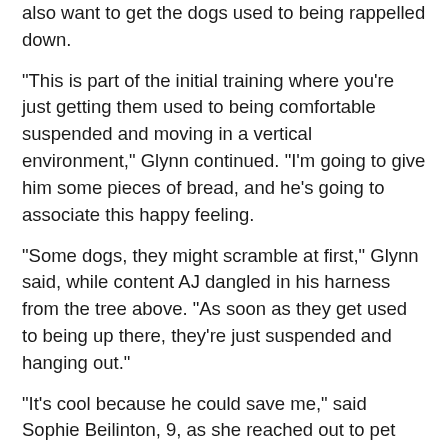also want to get the dogs used to being rappelled down.
"This is part of the initial training where you're just getting them used to being comfortable suspended and moving in a vertical environment," Glynn continued. "I'm going to give him some pieces of bread, and he's going to associate this happy feeling.
"Some dogs, they might scramble at first," Glynn said, while content AJ dangled in his harness from the tree above. "As soon as they get used to being up there, they're just suspended and hanging out."
"It's cool because he could save me," said Sophie Beilinton, 9, as she reached out to pet the dog after his safe return to the ground.
Despite a light rain earlier that day, dogs from Austin Police Department Search and Rescue and Travis County Sheriff's K-9 Unit also demonstrated their